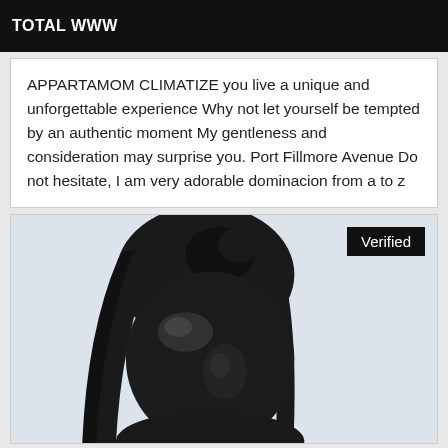TOTAL WWW
APPARTAMOM CLIMATIZE you live a unique and unforgettable experience Why not let yourself be tempted by an authentic moment My gentleness and consideration may surprise you. Port Fillmore Avenue Do not hesitate, I am very adorable dominacion from a to z
[Figure (photo): Photo of a person in a black latex hood/mask with long dark hair, against a light blue-grey background. A 'Verified' badge is shown in the top right corner of the image card.]